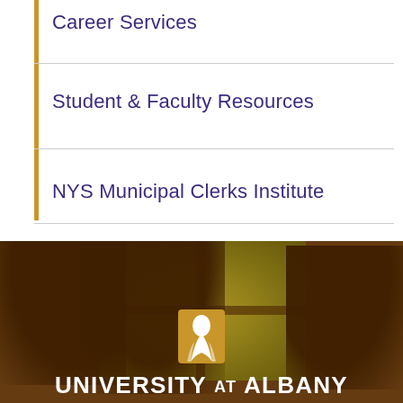Career Services
Student & Faculty Resources
NYS Municipal Clerks Institute
[Figure (photo): Silhouettes of people networking/conversing in front of a window with autumn foliage outside, University at Albany branding with logo and wordmark overlaid at the bottom]